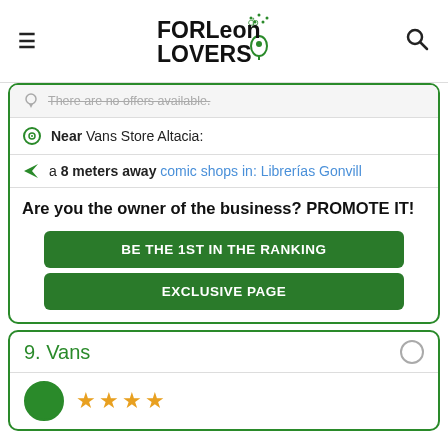FORLeon LOVERS
There are no offers available.
Near Vans Store Altacia:
a 8 meters away comic shops in: Librerías Gonvill
Are you the owner of the business? PROMOTE IT!
BE THE 1ST IN THE RANKING
EXCLUSIVE PAGE
9. Vans